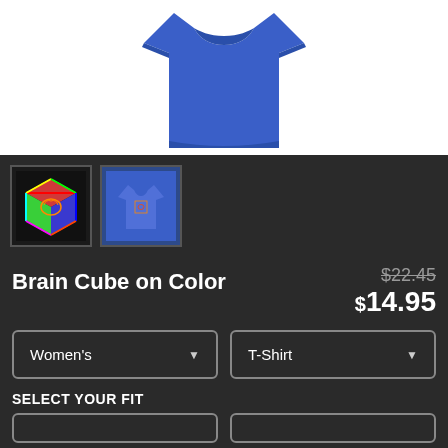[Figure (photo): Blue women's t-shirt product photo on white background]
[Figure (photo): Thumbnail of brain cube colorful logo artwork]
[Figure (photo): Thumbnail of blue t-shirt with brain cube design]
Brain Cube on Color
$22.45 (strikethrough original price) $14.95 (sale price)
Women's (dropdown) T-Shirt (dropdown)
SELECT YOUR FIT
Fit option buttons row